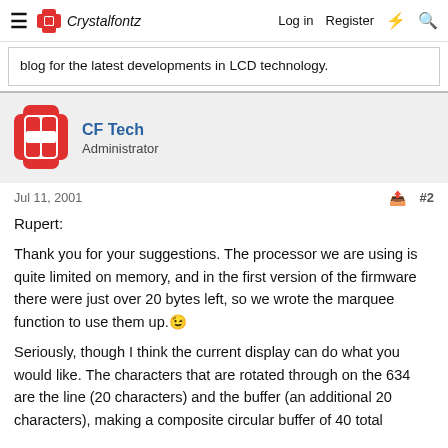☰ Crystalfontz  Log in  Register
blog for the latest developments in LCD technology.
CF Tech
Administrator
Jul 11, 2001  #2
Rupert:
Thank you for your suggestions. The processor we are using is quite limited on memory, and in the first version of the firmware there were just over 20 bytes left, so we wrote the marquee function to use them up. 😉
Seriously, though I think the current display can do what you would like. The characters that are rotated through on the 634 are the line (20 characters) and the buffer (an additional 20 characters), making a composite circular buffer of 40 total